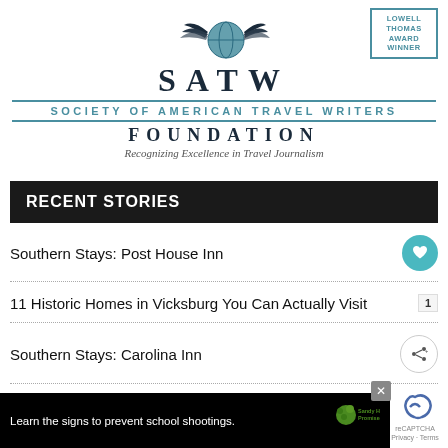[Figure (logo): SATW Society of American Travel Writers Foundation logo with stylized bird/globe icon and Lowell Thomas Award Winner badge]
RECENT STORIES
Southern Stays: Post House Inn
11 Historic Homes in Vicksburg You Can Actually Visit
Southern Stays: Carolina Inn
What to See at Animal Kingdom at Walt Disney World
[Figure (infographic): Advertisement banner: Learn the signs to prevent school shootings. Sandy Hook Promise logo.]